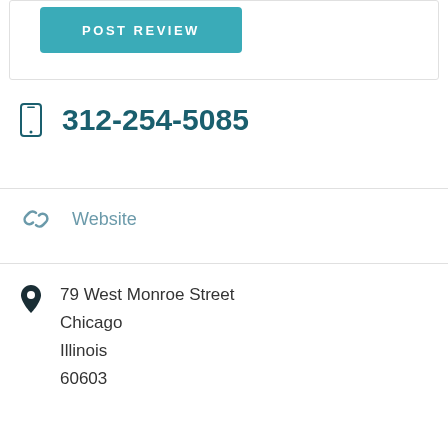[Figure (screenshot): POST REVIEW button — teal/cyan background with white bold uppercase text]
312-254-5085
Website
79 West Monroe Street
Chicago
Illinois
60603